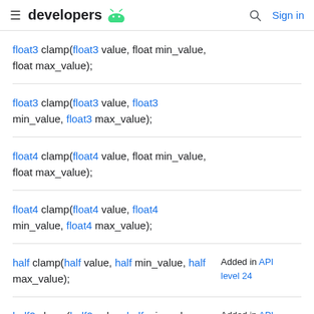developers [android logo] | Search | Sign in
float3 clamp(float3 value, float min_value, float max_value);
float3 clamp(float3 value, float3 min_value, float3 max_value);
float4 clamp(float4 value, float min_value, float max_value);
float4 clamp(float4 value, float4 min_value, float4 max_value);
half clamp(half value, half min_value, half max_value);
Added in API level 24
half2 clamp(half2 value, half min_value,
Added in API